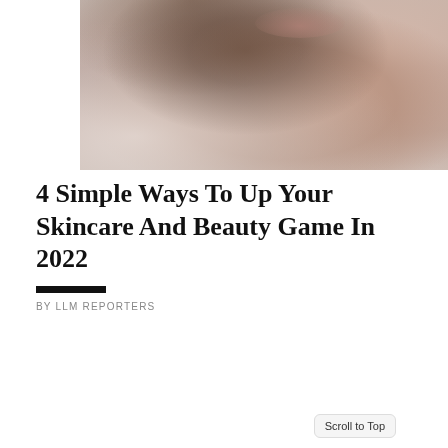[Figure (photo): Close-up photo of a woman's face and neck from below, with dark hair and light fluffy clothing, light skin tones against a neutral background]
4 Simple Ways To Up Your Skincare And Beauty Game In 2022
BY LLM REPORTERS
[Figure (photo): Photo of a young woman with brown hair in a braid, wearing blue chandelier earrings and a white top, with a blurred outdoor/glass background]